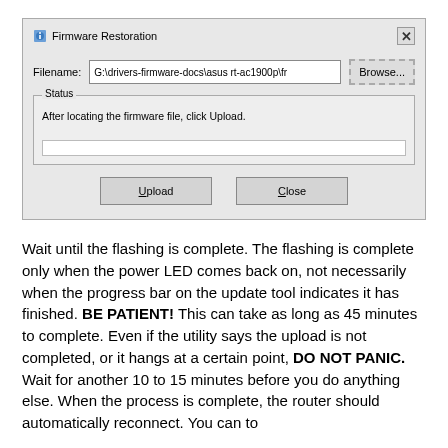[Figure (screenshot): Windows dialog box titled 'Firmware Restoration' with a filename field showing 'G:\drivers-firmware-docs\asus rt-ac1900p\fr', a Browse button, a Status group box with text 'After locating the firmware file, click Upload.', a progress bar area, and two buttons: Upload and Close.]
Wait until the flashing is complete. The flashing is complete only when the power LED comes back on, not necessarily when the progress bar on the update tool indicates it has finished. BE PATIENT! This can take as long as 45 minutes to complete. Even if the utility says the upload is not completed, or it hangs at a certain point, DO NOT PANIC. Wait for another 10 to 15 minutes before you do anything else. When the process is complete, the router should automatically reconnect. You can to